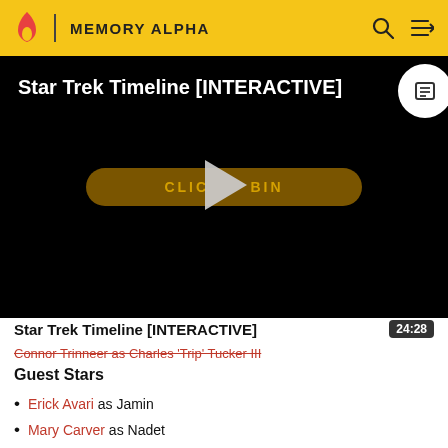MEMORY ALPHA
[Figure (screenshot): Video player with black background showing title 'Star Trek Timeline [INTERACTIVE]' and a golden 'CLICK TO BEGIN' button with a play arrow overlay in the center]
Star Trek Timeline [INTERACTIVE]
Connor Trinneer as Charles 'Trip' Tucker III
Guest Stars
Erick Avari as Jamin
Mary Carver as Nadet